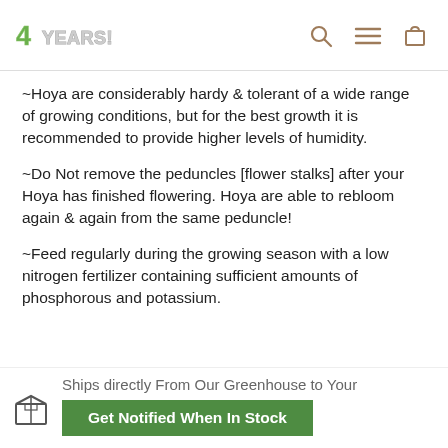4YEARS! [logo] [search icon] [menu icon] [cart icon]
~Hoya are considerably hardy & tolerant of a wide range of growing conditions, but for the best growth it is recommended to provide higher levels of humidity.
~Do Not remove the peduncles [flower stalks] after your Hoya has finished flowering. Hoya are able to rebloom again & again from the same peduncle!
~Feed regularly during the growing season with a low nitrogen fertilizer containing sufficient amounts of phosphorous and potassium.
Ships directly From Our Greenhouse to Your
Get Notified When In Stock